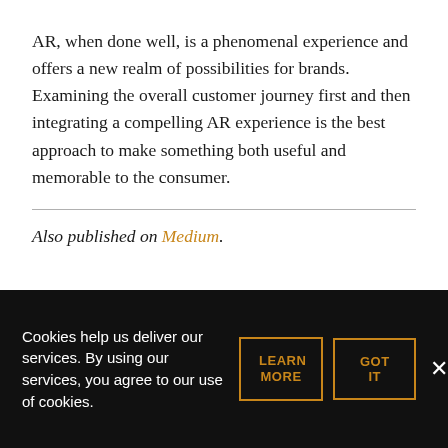AR, when done well, is a phenomenal experience and offers a new realm of possibilities for brands. Examining the overall customer journey first and then integrating a compelling AR experience is the best approach to make something both useful and memorable to the consumer.
Also published on Medium.
Cookies help us deliver our services. By using our services, you agree to our use of cookies.